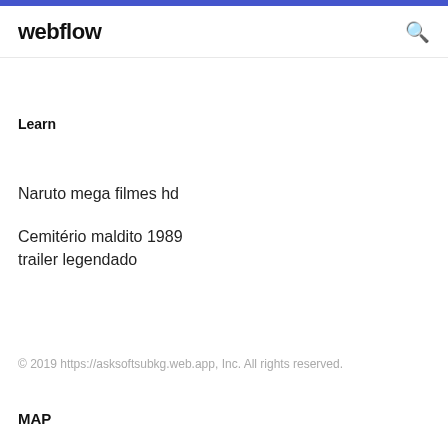webflow
Learn
Naruto mega filmes hd
Cemitério maldito 1989 trailer legendado
© 2019 https://asksoftsubkg.web.app, Inc. All rights reserved.
MAP